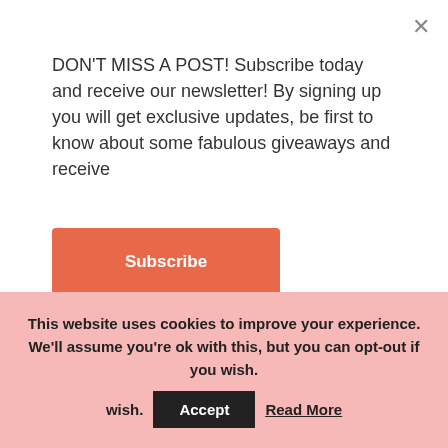DON'T MISS A POST! Subscribe today and receive our newsletter! By signing up you will get exclusive updates, be first to know about some fabulous giveaways and receive
Subscribe
[Figure (other): Four social media icons (Instagram, Facebook, Twitter, Pinterest) as gray circles]
NEWSLETTER
This website uses cookies to improve your experience. We'll assume you're ok with this, but you can opt-out if you wish.
Accept   Read More